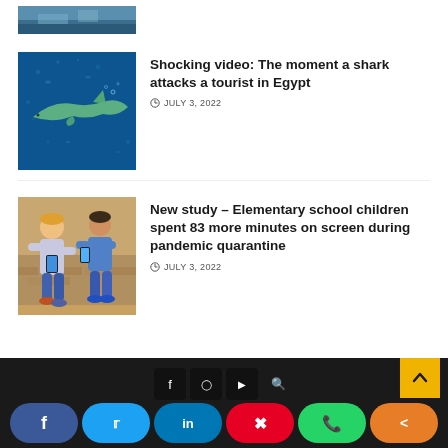[Figure (photo): Partial thumbnail of a waterfront/harbour scene visible at top]
[Figure (photo): Shark swimming in blue aquarium water]
Shocking video: The moment a shark attacks a tourist in Egypt
JULY 3, 2022
[Figure (photo): Two children sitting on a bench looking at smartphones]
New study – Elementary school children spent 83 more minutes on screen during pandemic quarantine
JULY 3, 2022
Social share buttons: Facebook, Twitter, LinkedIn, Pinterest, WhatsApp, Share